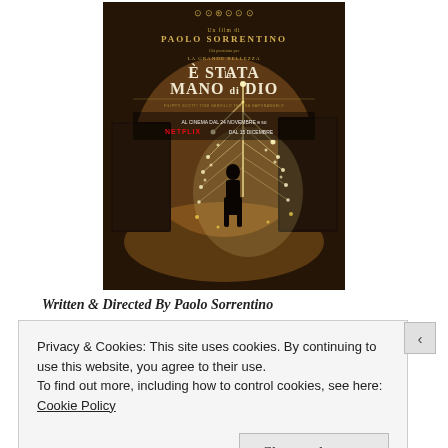[Figure (photo): Movie poster for 'È Stata la Mano di Dio' directed by Paolo Sorrentino. Dark cinematic poster showing a silhouetted figure standing before a glowing, chandelier-like throne structure in a ruined interior. Text includes award laurels at top, director credit 'Un film di PAOLO SORRENTINO', tagline 'Già premiato per LA GRANDE BELLEZZA', title 'È STATA la MANO di DIO', Netflix release info 'AL CINEMA DAL 24 NOVEMBRE e su NETFLIX DAL 15 DICEMBRE'.]
Written & Directed By Paolo Sorrentino
Privacy & Cookies: This site uses cookies. By continuing to use this website, you agree to their use.
To find out more, including how to control cookies, see here: Cookie Policy
Close and accept